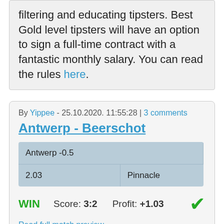filtering and educating tipsters. Best Gold level tipsters will have an option to sign a full-time contract with a fantastic monthly salary. You can read the rules here.
By Yippee - 25.10.2020. 11:55:28 | 3 comments
Antwerp - Beerschot
| Antwerp -0.5 |  |
| 2.03 | Pinnacle |
WIN   Score: 3:2   Profit: +1.03
Read full match preview